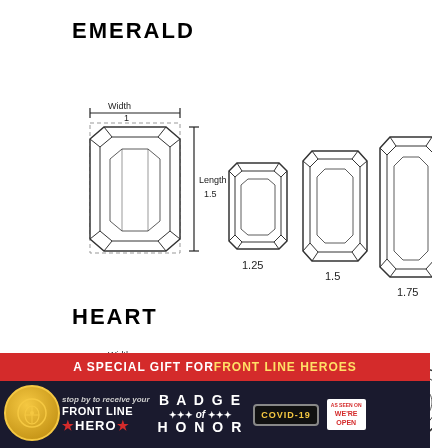EMERALD
[Figure (schematic): Emerald cut gemstone diagram showing Width=1 and Length=1.5 dimensions, with three size variants labeled 1.25, 1.5, and 1.75]
HEART
[Figure (schematic): Heart cut gemstone diagram showing Width=1 and Length dimensions, with three size variants partially visible]
[Figure (infographic): Advertisement banner: A Special Gift for Front Line Heroes - Badge of Honor COVID-19]